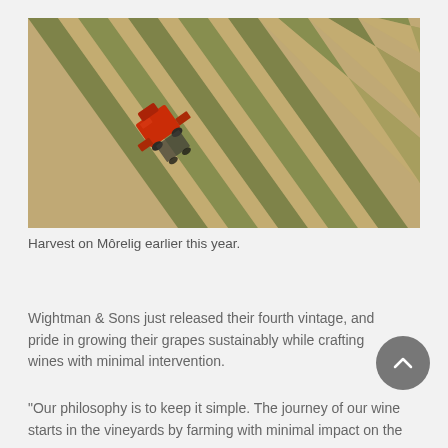[Figure (photo): Aerial drone view of a vineyard with rows of grapevines and a red harvesting machine/tractor working through the vines.]
Harvest on Môrelig earlier this year.
Wightman & Sons just released their fourth vintage, and pride in growing their grapes sustainably while crafting wines with minimal intervention.
"Our philosophy is to keep it simple. The journey of our wine starts in the vineyards by farming with minimal impact on the